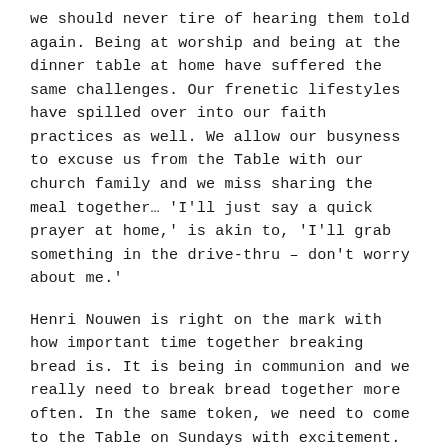we should never tire of hearing them told again. Being at worship and being at the dinner table at home have suffered the same challenges. Our frenetic lifestyles have spilled over into our faith practices as well. We allow our busyness to excuse us from the Table with our church family and we miss sharing the meal together… 'I'll just say a quick prayer at home,' is akin to, 'I'll grab something in the drive-thru – don't worry about me.'
Henri Nouwen is right on the mark with how important time together breaking bread is. It is being in communion and we really need to break bread together more often. In the same token, we need to come to the Table on Sundays with excitement.